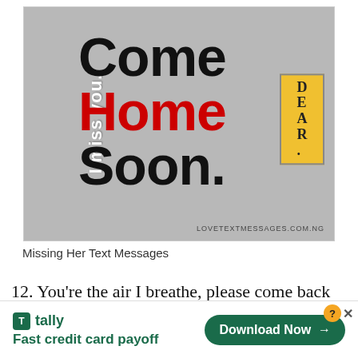[Figure (illustration): Gray background greeting card image with rotated text 'I miss you.' on the left side and large bold text 'Come Home Soon.' with 'Home' in red. A yellow decorated badge with 'DEAR.' appears on the right. Watermark reads 'LOVETEXTMESSAGES.COM.NG']
Missing Her Text Messages
12. You’re the air I breathe, please come back soon. I am running out of the air I miss
[Figure (infographic): Advertisement banner for Tally app: 'Fast credit card payoff' with green Download Now button and close/question icons]